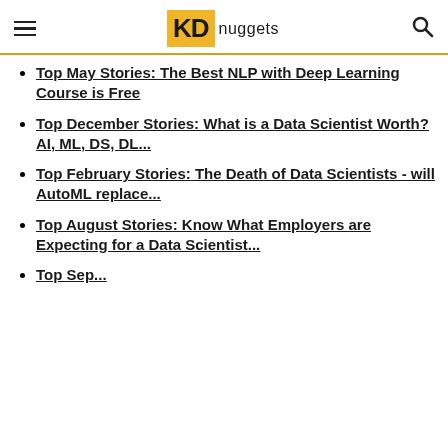KD nuggets
Top May Stories: The Best NLP with Deep Learning Course is Free
Top December Stories: What is a Data Scientist Worth? AI, ML, DS, DL...
Top February Stories: The Death of Data Scientists - will AutoML replace...
Top August Stories: Know What Employers are Expecting for a Data Scientist...